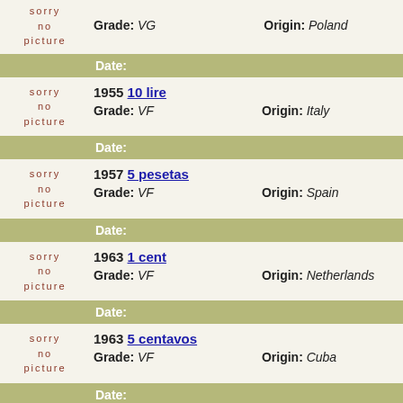sorry no picture | Grade: VG | Origin: Poland
| sorry no picture | 1955 10 lire |  |
|  | Grade: VF | Origin: Italy |
| sorry no picture | 1957 5 pesetas |  |
|  | Grade: VF | Origin: Spain |
| sorry no picture | 1963 1 cent |  |
|  | Grade: VF | Origin: Netherlands |
| sorry no picture | 1963 5 centavos |  |
|  | Grade: VF | Origin: Cuba |
| sorry no picture | 1966 1 leu |  |
|  | Grade: VF | Origin: Romania |